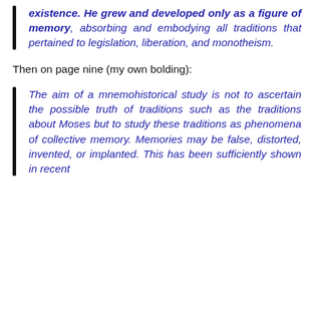existence. He grew and developed only as a figure of memory, absorbing and embodying all traditions that pertained to legislation, liberation, and monotheism.
Then on page nine (my own bolding):
The aim of a mnemohistorical study is not to ascertain the possible truth of traditions such as the traditions about Moses but to study these traditions as phenomena of collective memory. Memories may be false, distorted, invented, or implanted. This has been sufficiently shown in recent